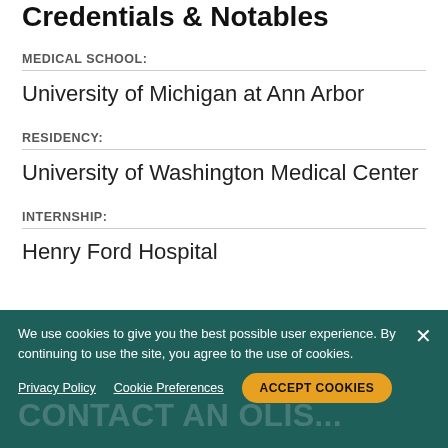Credentials & Notables
MEDICAL SCHOOL:
University of Michigan at Ann Arbor
RESIDENCY:
University of Washington Medical Center
INTERNSHIP:
Henry Ford Hospital
We use cookies to give you the best possible user experience. By continuing to use the site, you agree to the use of cookies.
Privacy Policy  Cookie Preferences  ACCEPT COOKIES